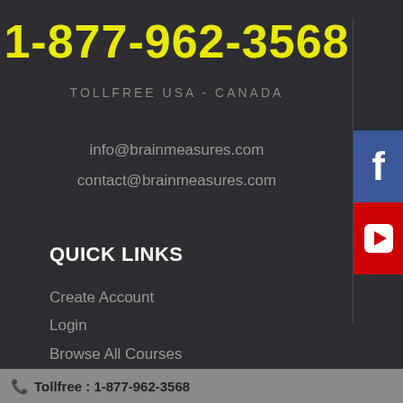1-877-962-3568
TOLLFREE USA - CANADA
info@brainmeasures.com
contact@brainmeasures.com
[Figure (logo): Facebook icon - blue square with white letter F]
[Figure (logo): YouTube icon - red square with white play button triangle]
QUICK LINKS
Create Account
Login
Browse All Courses
Browse All Tests
Create Combo
Tollfree : 1-877-962-3568